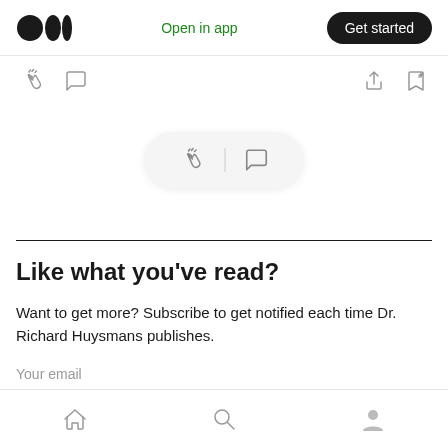Medium logo | Open in app | Get started
[Figure (screenshot): Medium app toolbar with clap icon, comment icon, share icon, and save icon]
[Figure (screenshot): Floating pill/button with clap icon, divider, and comment icon]
Like what you've read?
Want to get more? Subscribe to get notified each time Dr. Richard Huysmans publishes.
Your email
Home | Search | Profile navigation icons